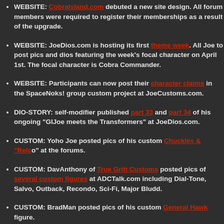WEBSITE: CobraIsland.com debuted a new site design. All forum members were required to register their memberships as a result of the upgrade.
WEBSITE: JoeDios.com is hosting its first theme week. All Joe fans are invited to post pics and dios featuring the week's focal character on April 1st. The focal character is Cobra Commander.
WEBSITE: Participants can now post their character claims in the upcoming SpaceNoks! group custom project at JoeCustoms.com.
DIO-STORY: self-modifier published part 33 and part 34 of his ongoing dio-story "GIJoe meets the Transformers" at JoeDios.com.
CUSTOM: Yoho Joe posted pics of his custom Chuckles & "Relo" figures at the forums.
CUSTOM: DavAnthony of True Gritt Customs posted pics of several custom figures at ADCTalk.com including Dial-Tone, Salvo, Outback, Recondo, Sci-Fi, Major Bludd.
CUSTOM: BradMan posted pics of his custom General Hawk figure.